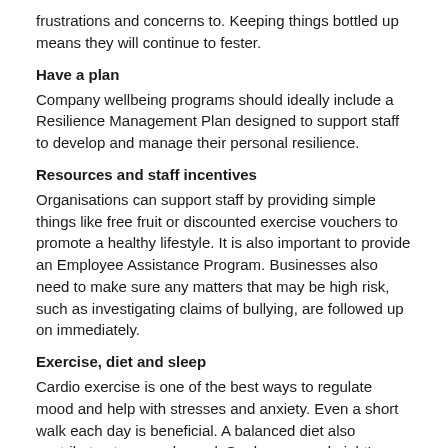frustrations and concerns to. Keeping things bottled up means they will continue to fester.
Have a plan
Company wellbeing programs should ideally include a Resilience Management Plan designed to support staff to develop and manage their personal resilience.
Resources and staff incentives
Organisations can support staff by providing simple things like free fruit or discounted exercise vouchers to promote a healthy lifestyle. It is also important to provide an Employee Assistance Program. Businesses also need to make sure any matters that may be high risk, such as investigating claims of bullying, are followed up on immediately.
Exercise, diet and sleep
Cardio exercise is one of the best ways to regulate mood and help with stresses and anxiety. Even a short walk each day is beneficial. A balanced diet also contributes to a good mood. So does a good night's sleep! Meditation and turning off electronic devices can also be very helpful.